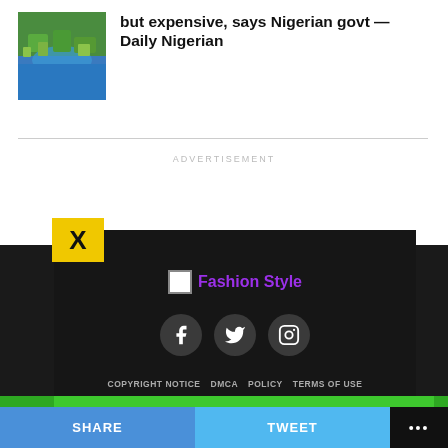[Figure (photo): Aerial thumbnail image of a coastal/river town with green vegetation]
but expensive, says Nigerian govt — Daily Nigerian
ADVERTISEMENT
[Figure (screenshot): Ad overlay with yellow X close button, dark panel showing Fashion Style brand with social media icons (Facebook, Twitter, Instagram), footer navigation links: COPYRIGHT NOTICE, DMCA, POLICY, TERMS OF USE, ABOUT US]
SHARE   TWEET   ...